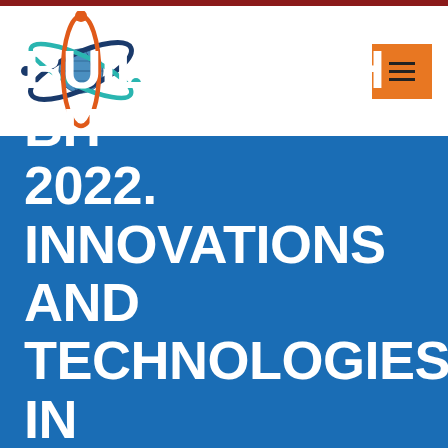[Figure (logo): Atom/science logo with globe in center, orange and teal orbital rings and dark blue nucleus ring]
[Figure (other): Orange hamburger menu button with three horizontal lines]
BUILDINTECH BIT 2022. INNOVATIONS AND TECHNOLOGIES IN